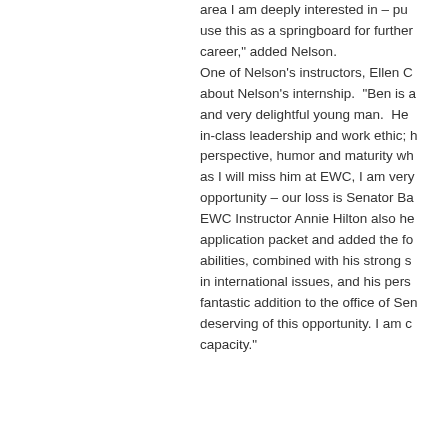area I am deeply interested in – pu use this as a springboard for further career," added Nelson. One of Nelson's instructors, Ellen C about Nelson's internship. "Ben is a and very delightful young man. He in-class leadership and work ethic; h perspective, humor and maturity wh as I will miss him at EWC, I am very opportunity – our loss is Senator Ba EWC Instructor Annie Hilton also he application packet and added the fo abilities, combined with his strong s in international issues, and his pers fantastic addition to the office of Sen deserving of this opportunity. I am c capacity."